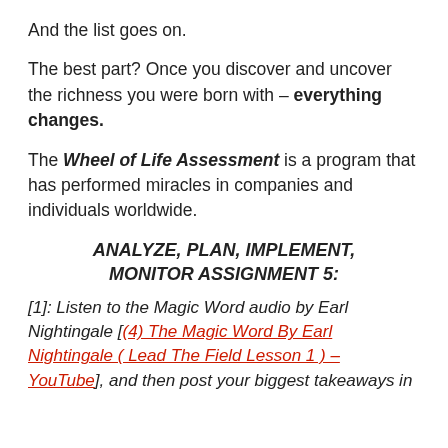And the list goes on.
The best part? Once you discover and uncover the richness you were born with – everything changes.
The Wheel of Life Assessment is a program that has performed miracles in companies and individuals worldwide.
ANALYZE, PLAN, IMPLEMENT, MONITOR ASSIGNMENT 5:
[1]: Listen to the Magic Word audio by Earl Nightingale [(4) The Magic Word By Earl Nightingale ( Lead The Field Lesson 1 ) – YouTube], and then post your biggest takeaways in